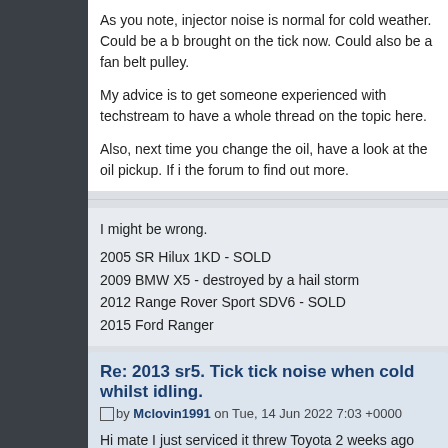As you note, injector noise is normal for cold weather. Could be a b brought on the tick now. Could also be a fan belt pulley.
My advice is to get someone experienced with techstream to have a whole thread on the topic here.
Also, next time you change the oil, have a look at the oil pickup. If i the forum to find out more.
I might be wrong.
2005 SR Hilux 1KD - SOLD
2009 BMW X5 - destroyed by a hail storm
2012 Range Rover Sport SDV6 - SOLD
2015 Ford Ranger
Re: 2013 sr5. Tick tick noise when cold whilst idling.
by Mclovin1991 on Tue, 14 Jun 2022 7:03 +0000
Hi mate I just serviced it threw Toyota 2 weeks ago assuming the m it almost sounds like a lifter tick that comes and goes whilst warmin the pick up when they change the oil ?
Re: 2013 sr5. Tick tick noise when cold whilst idling.
by Rob_Wood on Wed, 15 Jun 2022 2:22 +0000